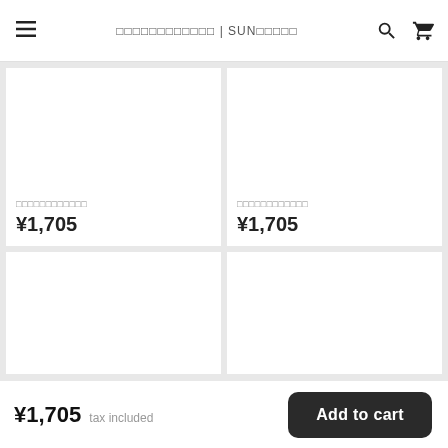□□□□□□□□□□□□ | SUN□□□□□
[Figure (photo): Product image placeholder (white square) for item 1]
□□□□□□□□□□□□
¥1,705
[Figure (photo): Product image placeholder (white square) for item 2]
□□□□□□□□□□□□
¥1,705
[Figure (photo): Product image placeholder (white square) for item 3 - partially visible]
[Figure (photo): Product image placeholder (white square) for item 4 - partially visible]
¥1,705 tax included
Add to cart